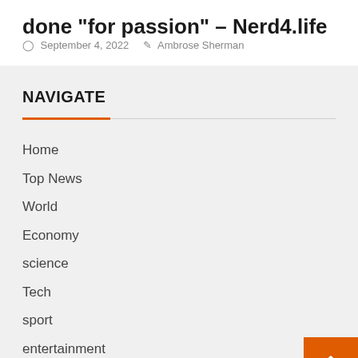done "for passion" – Nerd4.life
September 4, 2022  Ambrose Sherman
NAVIGATE
Home
Top News
World
Economy
science
Tech
sport
entertainment
Contact Form